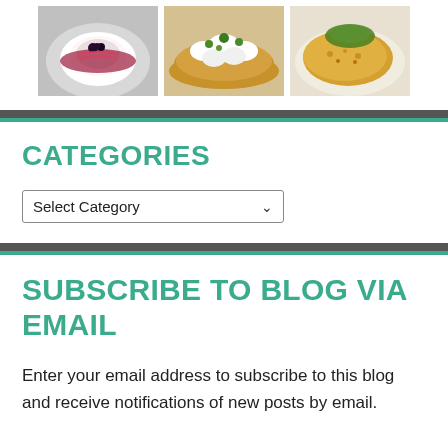[Figure (photo): Three food photos in a horizontal strip: a dessert with berry sauce on a gray plate, a toast/flatbread with white cream and green herbs, and a dish with yellow curry/lentils with garnishes.]
CATEGORIES
Select Category
SUBSCRIBE TO BLOG VIA EMAIL
Enter your email address to subscribe to this blog and receive notifications of new posts by email.